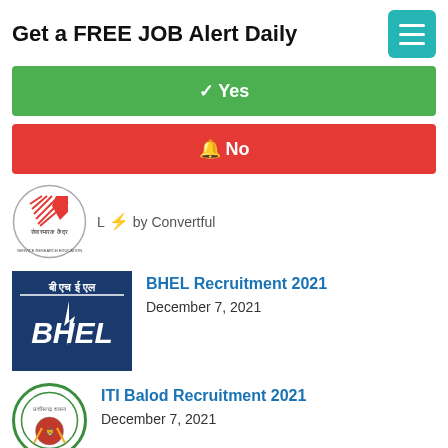Get a FREE JOB Alert Daily
✓ Yes
🔔 No
[Figure (logo): SRE circular logo with Hindi text and Service Research Education text around border]
L ⚡ by Convertful
[Figure (logo): BHEL logo - blue background with Hindi text 'बी एच ई एल' and BHEL stylized text with lightning bolt]
BHEL Recruitment 2021
December 7, 2021
[Figure (logo): Chhattisgarh government circular emblem logo]
ITI Balod Recruitment 2021
December 7, 2021